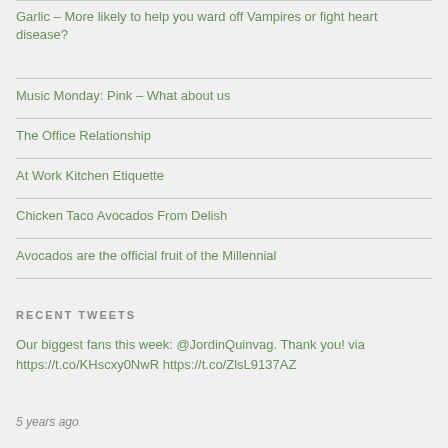Garlic – More likely to help you ward off Vampires or fight heart disease?
Music Monday: Pink – What about us
The Office Relationship
At Work Kitchen Etiquette
Chicken Taco Avocados From Delish
Avocados are the official fruit of the Millennial
RECENT TWEETS
Our biggest fans this week: @JordinQuinvag. Thank you! via https://t.co/KHscxy0NwR https://t.co/ZlsL9137AZ
5 years ago